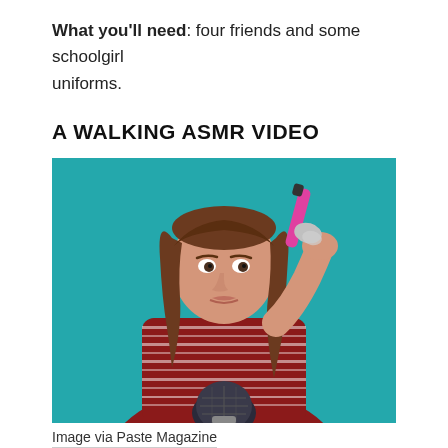What you'll need: four friends and some schoolgirl uniforms.
A WALKING ASMR VIDEO
[Figure (photo): A young woman with long brown hair wearing a red and white striped long-sleeve shirt, holding a pink makeup brush over a blue/silver microphone, against a teal background.]
Image via Paste Magazine